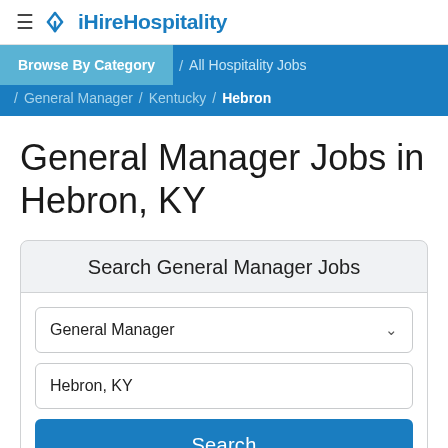iHireHospitality
Browse By Category / All Hospitality Jobs / General Manager / Kentucky / Hebron
General Manager Jobs in Hebron, KY
Search General Manager Jobs
General Manager
Hebron, KY
Search